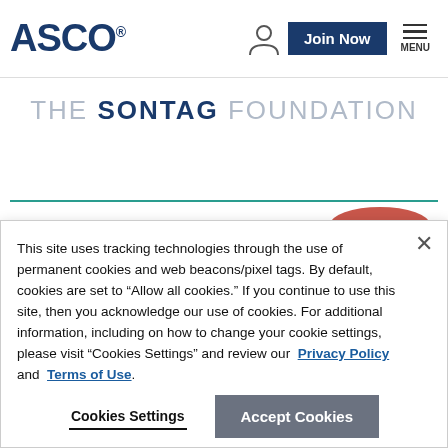ASCO | Join Now | MENU
THE SONTAG FOUNDATION
This site uses tracking technologies through the use of permanent cookies and web beacons/pixel tags. By default, cookies are set to “Allow all cookies.” If you continue to use this site, then you acknowledge our use of cookies. For additional information, including on how to change your cookie settings, please visit “Cookies Settings” and review our Privacy Policy and Terms of Use.
Cookies Settings | Accept Cookies